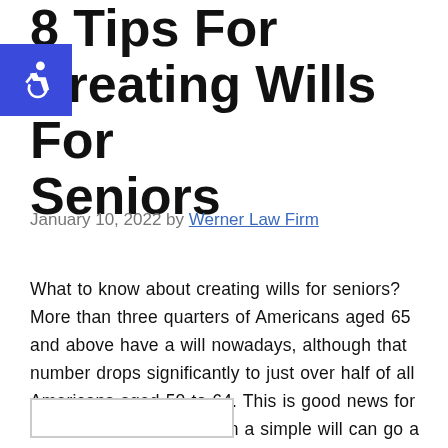8 Tips For Creating Wills For Seniors
January 10, 2022 by Werner Law Firm
What to know about creating wills for seniors? More than three quarters of Americans aged 65 and above have a will nowadays, although that number drops significantly to just over half of all Americans aged 50 to 64. This is good news for millions of adults, as even a simple will can go a long …